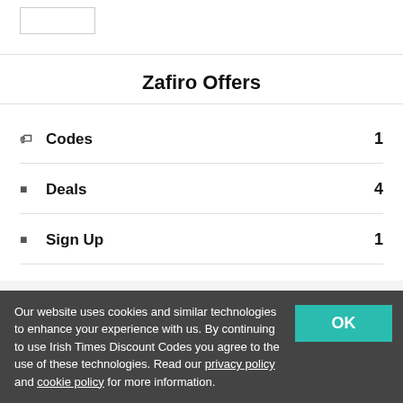[Figure (other): Logo placeholder box (white rectangle with border)]
Zafiro Offers
Codes  1
Deals  4
Sign Up  1
Privacy Policy   Cookie Policy   Contact Us
Our website uses cookies and similar technologies to enhance your experience with us. By continuing to use Irish Times Discount Codes you agree to the use of these technologies. Read our privacy policy and cookie policy for more information.